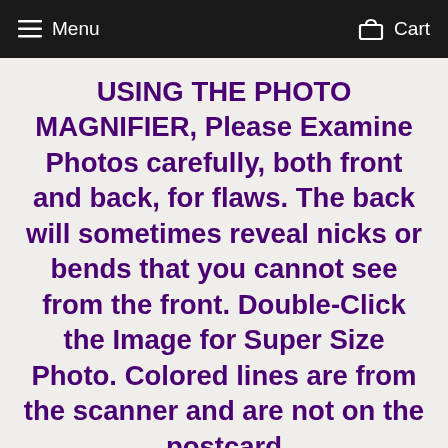Menu   Cart
USING THE PHOTO MAGNIFIER, Please Examine Photos carefully, both front and back, for flaws. The back will sometimes reveal nicks or bends that you cannot see from the front. Double-Click the Image for Super Size Photo. Colored lines are from the scanner and are not on the postcard
Please Contact Us If You Have Any